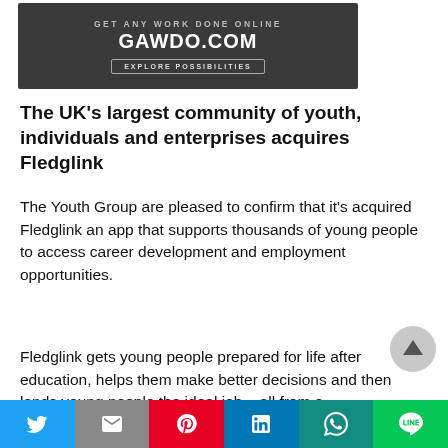[Figure (other): Advertisement banner for GAWDO.COM with dark background. Text reads: GET ANY WORK DONE ONLINE, GAWDO.COM, EXPLORE POSSIBILITIES button.]
The UK’s largest community of youth, individuals and enterprises acquires Fledglink
The Youth Group are pleased to confirm that it's acquired Fledglink an app that supports thousands of young people to access career development and employment opportunities.
Fledglink gets young people prepared for life after education, helps them make better decisions and then lands young people the ideal job – all from a
[Figure (other): Social sharing bar at bottom with Twitter, Email, Pinterest, LinkedIn, WhatsApp, and LINE buttons.]